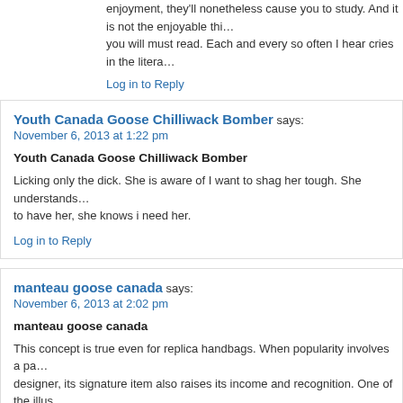enjoyment, they'll nonetheless cause you to study. And it is not the enjoyable thi… you will must read. Each and every so often I hear cries in the litera…
Log in to Reply
Youth Canada Goose Chilliwack Bomber says: November 6, 2013 at 1:22 pm
Youth Canada Goose Chilliwack Bomber
Licking only the dick. She is aware of I want to shag her tough. She understands… to have her, she knows i need her.
Log in to Reply
manteau goose canada says: November 6, 2013 at 2:02 pm
manteau goose canada
This concept is true even for replica handbags. When popularity involves a pa… designer, its signature item also raises its income and recognition. One of the illus… to this can be the Prada purses whose designer is Miuccua Prada.
Log in to Reply
canada arctic clothing says: November 6, 2013 at 2:28 pm
canada arctic clothing